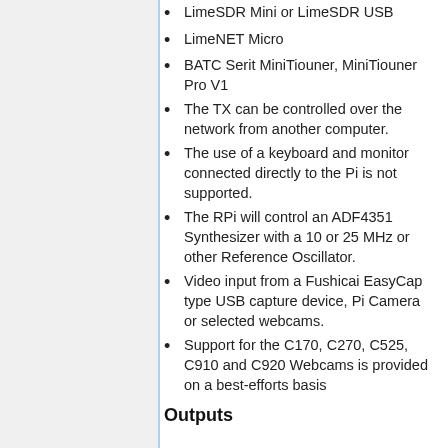LimeSDR Mini or LimeSDR USB
LimeNET Micro
BATC Serit MiniTiouner, MiniTiouner Pro V1
The TX can be controlled over the network from another computer.
The use of a keyboard and monitor connected directly to the Pi is not supported.
The RPi will control an ADF4351 Synthesizer with a 10 or 25 MHz or other Reference Oscillator.
Video input from a Fushicai EasyCap type USB capture device, Pi Camera or selected webcams.
Support for the C170, C270, C525, C910 and C920 Webcams is provided on a best-efforts basis
Outputs